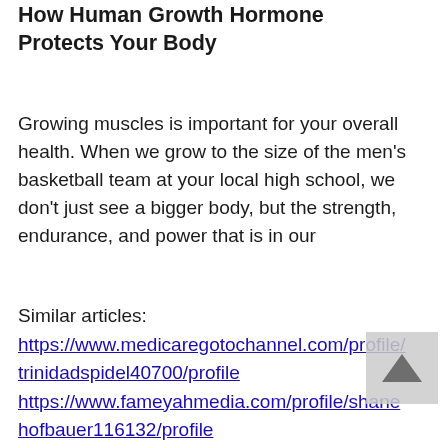How Human Growth Hormone Protects Your Body
Growing muscles is important for your overall health. When we grow to the size of the men's basketball team at your local high school, we don't just see a bigger body, but the strength, endurance, and power that is in our
Similar articles:
https://www.medicaregotochannel.com/profile/trinidadspidel40700/profile
https://www.fameyahmedia.com/profile/shanehofbauer116132/profile
https://www.weteachlifeskills.org/profile/nenitaplamondin125828/profile
https://www.soulspellsociety.com/profile/elissagarrigus132989/profile